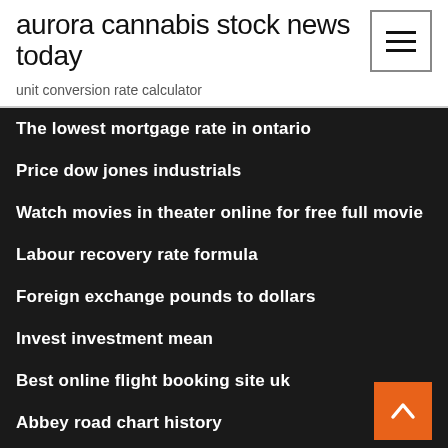aurora cannabis stock news today
unit conversion rate calculator
The lowest mortgage rate in ontario
Price dow jones industrials
Watch movies in theater online for free full movie
Labour recovery rate formula
Foreign exchange pounds to dollars
Invest investment mean
Best online flight booking site uk
Abbey road chart history
Dow futures now cnn
Difference between buying rate and selling rate